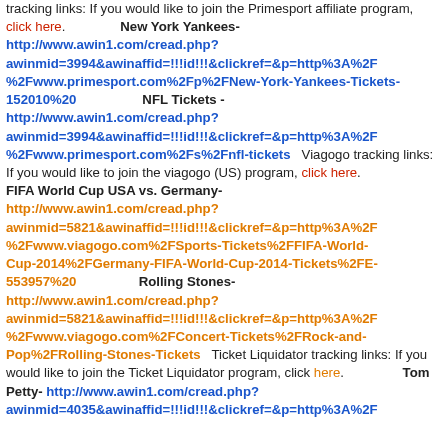tracking links: If you would like to join the Primesport affiliate program, click here.   New York Yankees- http://www.awin1.com/cread.php?awinmid=3994&awinaffid=!!!id!!!&clickref=&p=http%3A%2F%2Fwww.primesport.com%2Fp%2FNew-York-Yankees-Tickets-152010%20   NFL Tickets - http://www.awin1.com/cread.php?awinmid=3994&awinaffid=!!!id!!!&clickref=&p=http%3A%2F%2Fwww.primesport.com%2Fs%2Fnfl-tickets   Viagogo tracking links: If you would like to join the viagogo (US) program, click here. FIFA World Cup USA vs. Germany- http://www.awin1.com/cread.php?awinmid=5821&awinaffid=!!!id!!!&clickref=&p=http%3A%2F%2Fwww.viagogo.com%2FSports-Tickets%2FFIFA-World-Cup-2014%2FGermany-FIFA-World-Cup-2014-Tickets%2FE-553957%20   Rolling Stones- http://www.awin1.com/cread.php?awinmid=5821&awinaffid=!!!id!!!&clickref=&p=http%3A%2F%2Fwww.viagogo.com%2FConcert-Tickets%2FRock-and-Pop%2FRolling-Stones-Tickets   Ticket Liquidator tracking links: If you would like to join the Ticket Liquidator program, click here.   Tom Petty- http://www.awin1.com/cread.php?awinmid=4035&awinaffid=!!!id!!!&clickref=&p=http%3A%2F
tracking links: If you would like to join the Primesport affiliate program, click here.